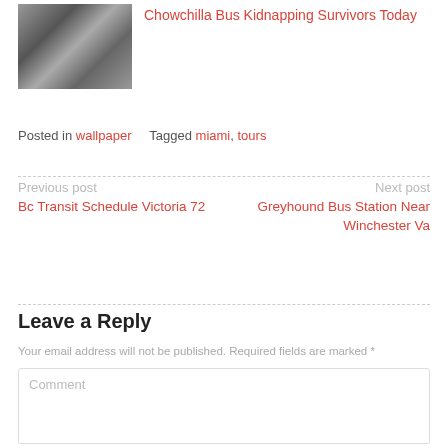[Figure (photo): Black and white photograph of three people]
Chowchilla Bus Kidnapping Survivors Today
Posted in wallpaper   Tagged miami, tours
Previous post
Bc Transit Schedule Victoria 72
Next post
Greyhound Bus Station Near Winchester Va
Leave a Reply
Your email address will not be published. Required fields are marked *
Comment